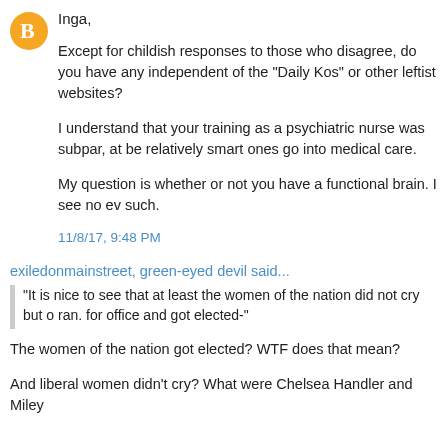Inga,
Except for childish responses to those who disagree, do you have any independent of the "Daily Kos" or other leftist websites?
I understand that your training as a psychiatric nurse was subpar, at be relatively smart ones go into medical care.
My question is whether or not you have a functional brain. I see no ev such.
11/8/17, 9:48 PM
exiledonmainstreet, green-eyed devil said...
"It is nice to see that at least the women of the nation did not cry but o ran. for office and got elected-"
The women of the nation got elected? WTF does that mean?
And liberal women didn't cry? What were Chelsea Handler and Miley